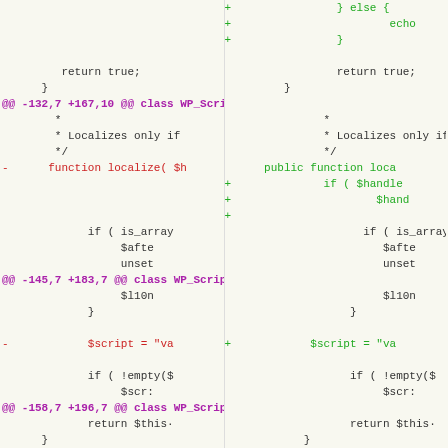[Figure (screenshot): A code diff view showing two columns (before/after) of PHP code from a WordPress WP_Scripts class file. Lines show additions (green, +), removals (red, -), context lines (black), and hunk headers (purple). The diff covers changes around localize() and set_group() function signatures, making them public. Line numbers shown include @@-132,7+167,10@@, @@-145,7+183,7@@, @@-158,7+196,7@@ hunk headers.]